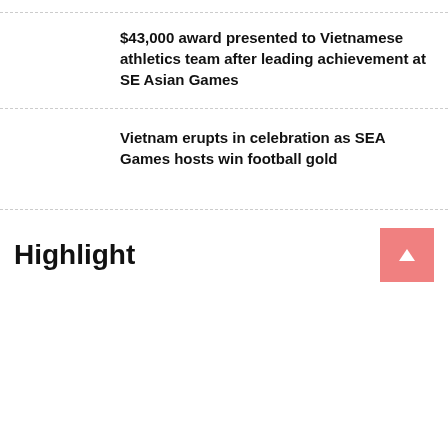$43,000 award presented to Vietnamese athletics team after leading achievement at SE Asian Games
Vietnam erupts in celebration as SEA Games hosts win football gold
Highlight